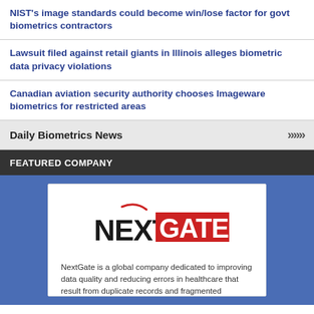NIST's image standards could become win/lose factor for govt biometrics contractors
Lawsuit filed against retail giants in Illinois alleges biometric data privacy violations
Canadian aviation security authority chooses Imageware biometrics for restricted areas
Daily Biometrics News
FEATURED COMPANY
[Figure (logo): NextGate logo with red slash accent above NE, black NEXT text and white GATE text on red background]
NextGate is a global company dedicated to improving data quality and reducing errors in healthcare that result from duplicate records and fragmented